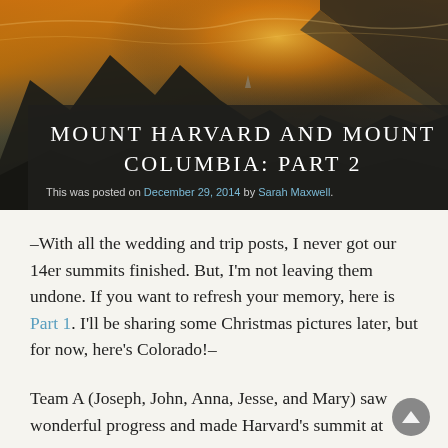[Figure (photo): Mountain landscape at sunset/sunrise with dramatic orange and golden sky, rocky terrain with mountain peaks silhouetted against the glowing sky.]
MOUNT HARVARD AND MOUNT COLUMBIA: PART 2
This was posted on December 29, 2014 by Sarah Maxwell.
–With all the wedding and trip posts, I never got our 14er summits finished. But, I'm not leaving them undone. If you want to refresh your memory, here is Part 1. I'll be sharing some Christmas pictures later, but for now, here's Colorado!–
Team A (Joseph, John, Anna, Jesse, and Mary) saw wonderful progress and made Harvard's summit at 7:30 local time. But they carried Them…